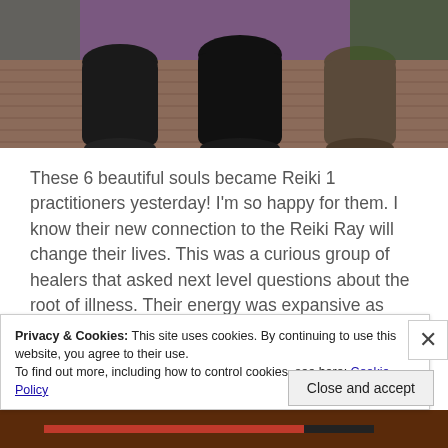[Figure (photo): Photo of people kneeling on a wooden deck, shot from waist down, purple/dark tones]
These 6 beautiful souls became Reiki 1 practitioners yesterday! I'm so happy for them. I know their new connection to the Reiki Ray will change their lives. This was a curious group of healers that asked next level questions about the root of illness. Their energy was expansive as their mind's and body's processed the attunement and the beyond valuable information that Reiki level one holds. This is just the beginning of their journey and I can't wait to watch it continue to unfold. Congratulations! ❤
Privacy & Cookies: This site uses cookies. By continuing to use this website, you agree to their use.
To find out more, including how to control cookies, see here: Cookie Policy
Close and accept